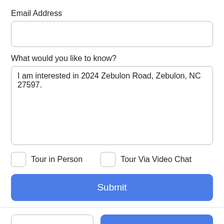Email Address
What would you like to know?
I am interested in 2024 Zebulon Road, Zebulon, NC 27597.
Tour in Person
Tour Via Video Chat
Submit
Take a Tour
Ask A Question